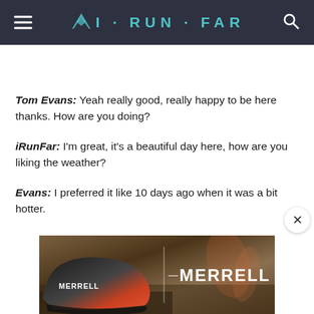iRunFar
Tom Evans: Yeah really good, really happy to be here thanks. How are you doing?
iRunFar: I'm great, it's a beautiful day here, how are you liking the weather?
Evans: I preferred it like 10 days ago when it was a bit hotter.
[Figure (photo): Merrell shoe advertisement banner showing a trail running shoe and the Merrell brand name on a dirt/ground background]